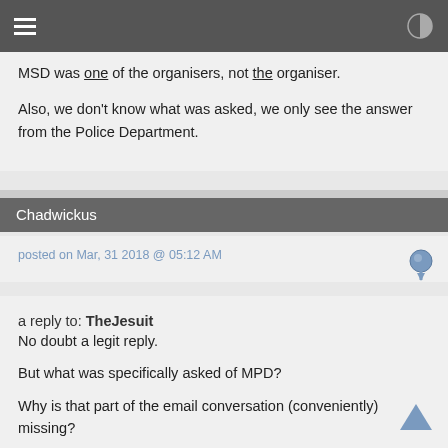MSD was one of the organisers, not the organiser.

Also, we don't know what was asked, we only see the answer from the Police Department.
Chadwickus
posted on Mar, 31 2018 @ 05:12 AM
a reply to: TheJesuit
No doubt a legit reply.

But what was specifically asked of MPD?

Why is that part of the email conversation (conveniently) missing?